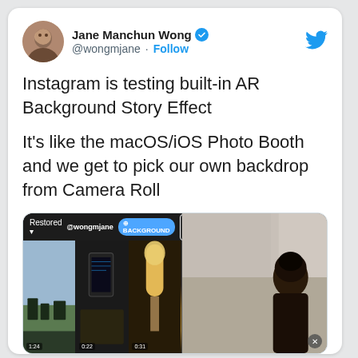[Figure (screenshot): Tweet by Jane Manchun Wong (@wongmjane) with Twitter verified badge and Follow button. Tweet text: 'Instagram is testing built-in AR Background Story Effect. It's like the macOS/iOS Photo Booth and we get to pick our own backdrop from Camera Roll'. Below is a screenshot of an Instagram camera roll UI showing video thumbnails (snow scene, phone, lamp) and a camera view with a person.]